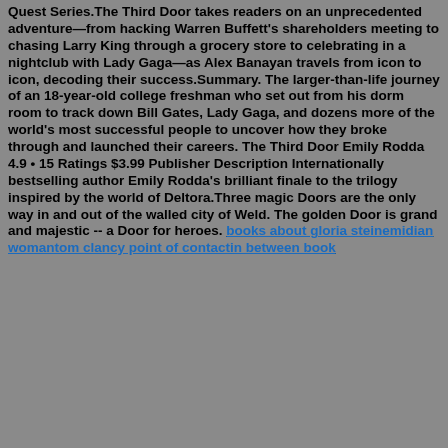Quest Series.The Third Door takes readers on an unprecedented adventure—from hacking Warren Buffett's shareholders meeting to chasing Larry King through a grocery store to celebrating in a nightclub with Lady Gaga—as Alex Banayan travels from icon to icon, decoding their success.Summary. The larger-than-life journey of an 18-year-old college freshman who set out from his dorm room to track down Bill Gates, Lady Gaga, and dozens more of the world's most successful people to uncover how they broke through and launched their careers. The Third Door Emily Rodda 4.9 • 15 Ratings $3.99 Publisher Description Internationally bestselling author Emily Rodda's brilliant finale to the trilogy inspired by the world of Deltora.Three magic Doors are the only way in and out of the walled city of Weld. The golden Door is grand and majestic -- a Door for heroes. books about gloria steinemidian womantom clancy point of contactin between book